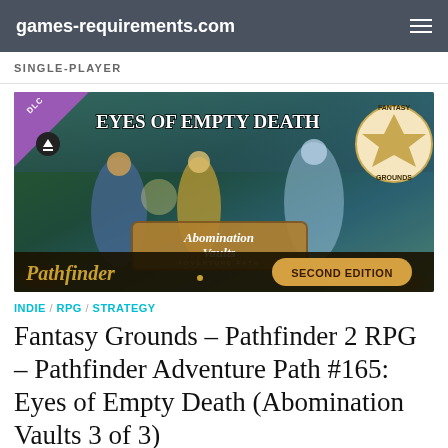games-requirements.com
SINGLE-PLAYER
[Figure (illustration): Game cover art for Fantasy Grounds – Pathfinder 2 RPG – Pathfinder Adventure Path #165: Eyes of Empty Death (Abomination Vaults 3 of 3). Shows fantasy characters battling, with DLC banner, Fantasy Grounds badge, Abomination Vaults subtitle, Pathfinder Second Edition branding.]
INDIE / RPG / STRATEGY
Fantasy Grounds – Pathfinder 2 RPG – Pathfinder Adventure Path #165: Eyes of Empty Death (Abomination Vaults 3 of 3)